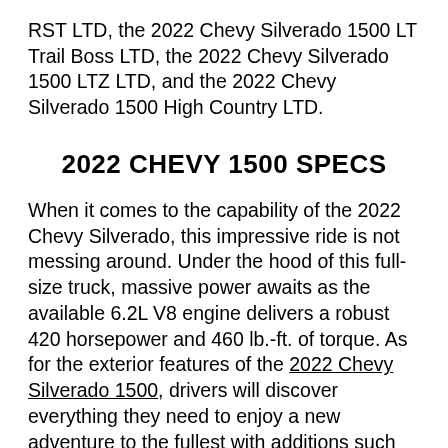RST LTD, the 2022 Chevy Silverado 1500 LT Trail Boss LTD, the 2022 Chevy Silverado 1500 LTZ LTD, and the 2022 Chevy Silverado 1500 High Country LTD.
2022 CHEVY 1500 SPECS
When it comes to the capability of the 2022 Chevy Silverado, this impressive ride is not messing around. Under the hood of this full-size truck, massive power awaits as the available 6.2L V8 engine delivers a robust 420 horsepower and 460 lb.-ft. of torque. As for the exterior features of the 2022 Chevy Silverado 1500, drivers will discover everything they need to enjoy a new adventure to the fullest with additions such as 18-inch High Gloss Black painted aluminum wheels, high-intensity LED headlamps, a Power-Up/Down